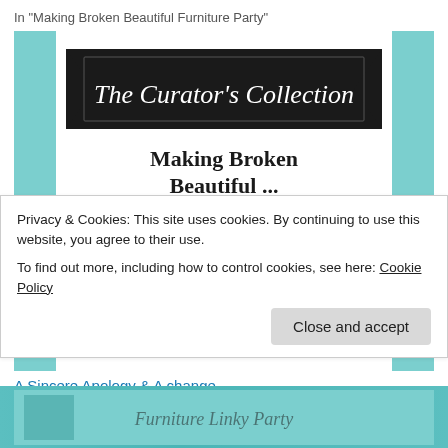In "Making Broken Beautiful Furniture Party"
[Figure (illustration): The Curator's Collection logo with ribbon banner on black background, text 'Making Broken Beautiful ...' and decorative fleur-de-lis ornament, with 'Furniture Linky Party' in script font. Teal/mint vertical bars on left and right sides.]
A Sincere Apology & A change
August 5, 2015
In "Broken Made Beautiful Friday"
Privacy & Cookies: This site uses cookies. By continuing to use this website, you agree to their use.
To find out more, including how to control cookies, see here: Cookie Policy
Close and accept